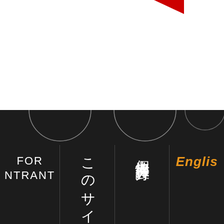[Figure (logo): Super Formula Lights logo with red stylized SF mark and text SUPER FORMULA LIGHTS in blue/black]
MENU
[Figure (illustration): Two partial circle arcs visible at top of dark section]
FOR ENTRANT
このサイトについて
個人情報保護方針
Englis